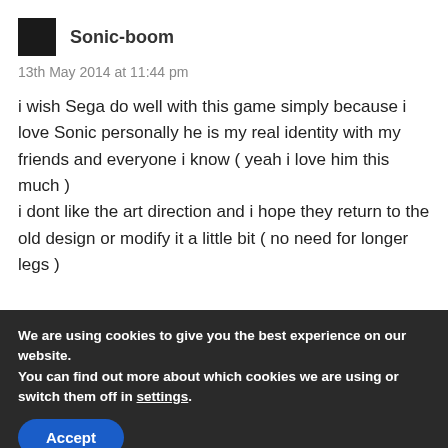Sonic-boom
13th May 2014 at 11:44 pm
i wish Sega do well with this game simply because i love Sonic personally he is my real identity with my friends and everyone i know ( yeah i love him this much )
i dont like the art direction and i hope they return to the old design or modify it a little bit ( no need for longer legs )
We are using cookies to give you the best experience on our website.
You can find out more about which cookies we are using or switch them off in settings.
Accept